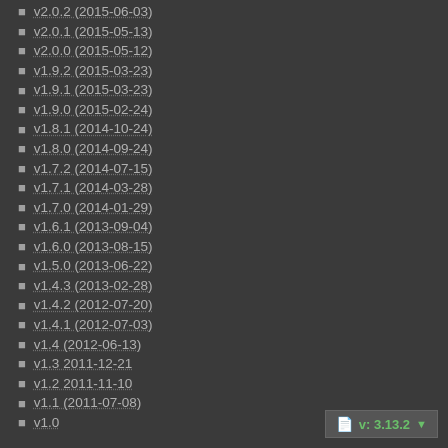v2.0.2 (2015-06-03)
v2.0.1 (2015-05-13)
v2.0.0 (2015-05-12)
v1.9.2 (2015-03-23)
v1.9.1 (2015-03-23)
v1.9.0 (2015-02-24)
v1.8.1 (2014-10-24)
v1.8.0 (2014-09-24)
v1.7.2 (2014-07-15)
v1.7.1 (2014-03-28)
v1.7.0 (2014-01-29)
v1.6.1 (2013-09-04)
v1.6.0 (2013-08-15)
v1.5.0 (2013-06-22)
v1.4.3 (2013-02-28)
v1.4.2 (2012-07-20)
v1.4.1 (2012-07-03)
v1.4 (2012-06-13)
v1.3 2011-12-21
v1.2 2011-11-10
v1.1 (2011-07-08)
v1.0
v: 3.13.2